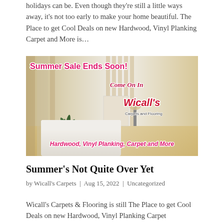holidays can be. Even though they're still a little ways away, it's not too early to make your home beautiful. The Place to get Cool Deals on new Hardwood, Vinyl Planking Carpet and More is…
[Figure (illustration): Advertisement image for Wicall's Carpets and Flooring featuring a bedroom with hardwood floors, a large indoor plant, and overlaid promotional text reading 'Summer Sale Ends Soon! Come On In Wicall's Carpets and Flooring Hardwood, Vinyl Planking, Carpet and More']
Summer's Not Quite Over Yet
by Wicall's Carpets | Aug 15, 2022 | Uncategorized
Wicall's Carpets & Flooring is still The Place to get Cool Deals on new Hardwood, Vinyl Planking Carpet and…